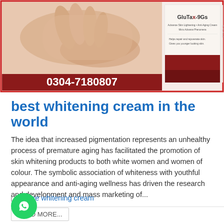[Figure (photo): Advertisement image for GluTax-9Gs skin lightening and anti-aging cream. Shows a woman's hand applying cream, the product box with the brand name 'GluTax-9Gs' and tagline 'Advance Skin Lightening + Anti-Aging Cream', and a phone number 0304-7180807 in white text on a dark red/maroon banner at the bottom.]
best whitening cream in the world
The idea that increased pigmentation represents an unhealthy process of premature aging has facilitated the promotion of skin whitening products to both white women and women of colour. The symbolic association of whiteness with youthful appearance and anti-aging wellness has driven the research and development and mass marketing of...
Face whitening cream
READ MORE...